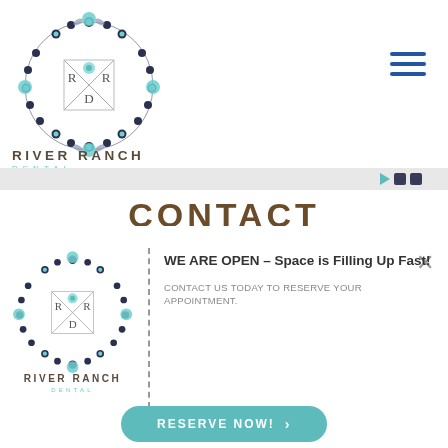[Figure (logo): River Ranch Dental circular floral logo with R R D letters in center, teal and navy colors]
RIVER RANCH
DENTAL
[Figure (other): Hamburger menu icon (three horizontal blue lines)]
[Figure (other): Gray banner with social media icons (play button, two square icons)]
CONTACT
[Figure (logo): River Ranch Dental circular floral logo (smaller, popup version)]
RIVER RANCH
DENTAL
WE ARE OPEN – Space is Filling Up Fast!
CONTACT US TODAY TO RESERVE YOUR APPOINTMENT.
RESERVE NOW!